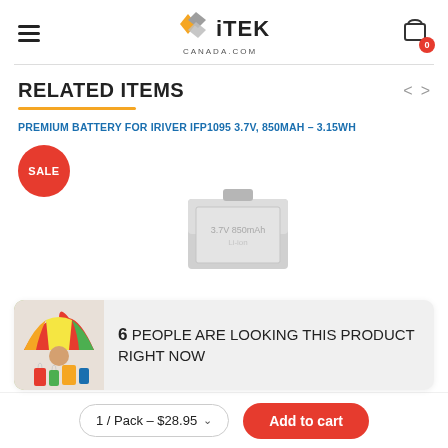iTEK CANADA.COM — hamburger menu, cart with 0 items
RELATED ITEMS
PREMIUM BATTERY FOR IRIVER IFP1095 3.7V, 850MAH – 3.15WH
[Figure (photo): Product image with SALE badge showing a battery, partially visible]
[Figure (photo): Social proof banner: woman with umbrella and shopping bags, text '6 PEOPLE ARE LOOKING THIS PRODUCT RIGHT NOW']
6 PEOPLE ARE LOOKING THIS PRODUCT RIGHT NOW
1 / Pack – $28.95
Add to cart